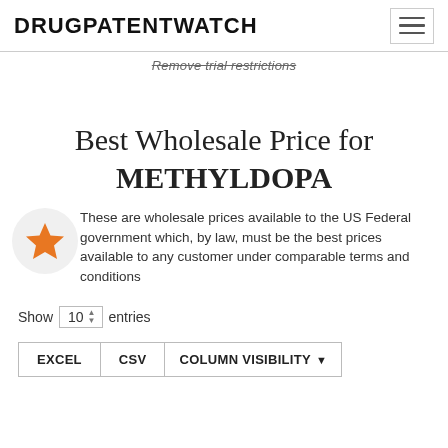DRUGPATENTWATCH
Remove trial restrictions
Best Wholesale Price for METHYLDOPA
These are wholesale prices available to the US Federal government which, by law, must be the best prices available to any customer under comparable terms and conditions
Show 10 entries
EXCEL   CSV   COLUMN VISIBILITY